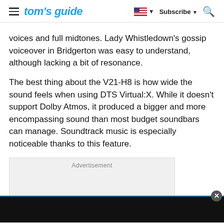tom's guide — Subscribe
voices and full midtones. Lady Whistledown's gossip voiceover in Bridgerton was easy to understand, although lacking a bit of resonance.
The best thing about the V21-H8 is how wide the sound feels when using DTS Virtual:X. While it doesn't support Dolby Atmos, it produced a bigger and more encompassing sound than most budget soundbars can manage. Soundtrack music is especially noticeable thanks to this feature.
[Figure (other): Advertisement placeholder box with label 'Advertisement' and a dark bottom banner bar with close button]